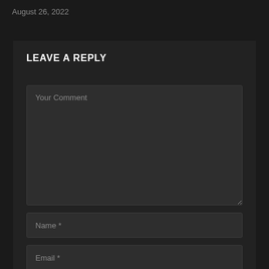August 26, 2022
LEAVE A REPLY
Your Comment
Name *
Email *